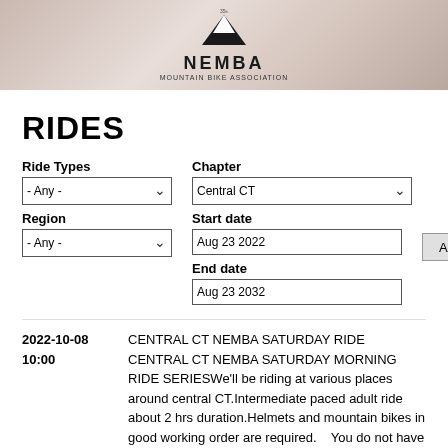[Figure (logo): NEMBA 35th anniversary mountain biking organization logo with mountain icon]
RIDES
Ride Types filter: - Any -; Chapter filter: Central CT; Region filter: - Any -; Start date: Aug 23 2022; End date: Aug 23 2032; Apply button
2022-10-08 10:00 — CENTRAL CT NEMBA SATURDAY RIDE CENTRAL CT NEMBA SATURDAY MORNING RIDE SERIESWe'll be riding at various places around central CT.Intermediate paced adult ride about 2 hrs duration.Helmets and mountain bikes in good working order are required.    You do not have to be a member of NEMBA to ride.   But you do have to have signed...
Read More